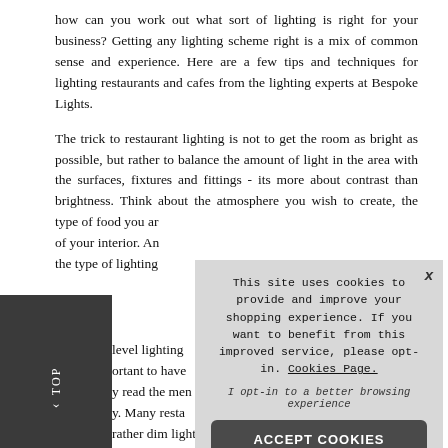how can you work out what sort of lighting is right for your business? Getting any lighting scheme right is a mix of common sense and experience. Here are a few tips and techniques for lighting restaurants and cafes from the lighting experts at Bespoke Lights.
The trick to restaurant lighting is not to get the room as bright as possible, but rather to balance the amount of light in the area with the surfaces, fixtures and fittings - its more about contrast than brightness. Think about the atmosphere you wish to create, the type of food you ar[e serving and the style] of your interior. An[d this will help determine] the type of lighting [you need.]
level lighting [... ] ortant to have [...] y read the men[...] y. Many resta[...] rather dim light ov[...] left in the shadows.[...] typically include d[...] switches and lots o[...] lights, picture lights and table lamps where appropriate. With this
[Figure (screenshot): Cookie consent overlay popup on a website. Text reads: 'This site uses cookies to provide and improve your shopping experience. If you want to benefit from this improved service, please opt-in. Cookies Page.' with an opt-in note and an ACCEPT COOKIES button. An X close button is in the top right corner.]